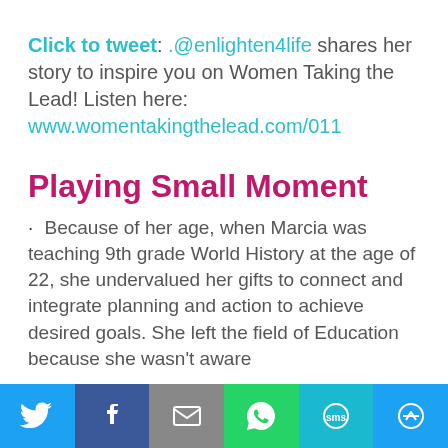Click to tweet: .@enlighten4life shares her story to inspire you on Women Taking the Lead! Listen here: www.womentakingthelead.com/011
Playing Small Moment
Because of her age, when Marcia was teaching 9th grade World History at the age of 22, she undervalued her gifts to connect and integrate planning and action to achieve desired goals. She left the field of Education because she wasn't aware